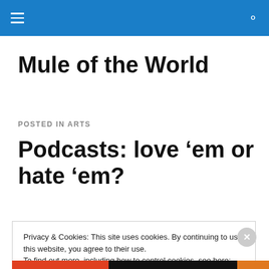Mule of the World — site header navigation bar with hamburger menu and search icon
Mule of the World
POSTED IN ARTS
Podcasts: love 'em or hate 'em?
Privacy & Cookies: This site uses cookies. By continuing to use this website, you agree to their use. To find out more, including how to control cookies, see here: Cookie Policy